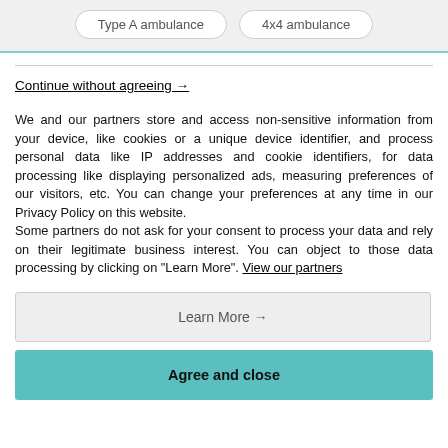Type A ambulance | 4x4 ambulance
Continue without agreeing →
We and our partners store and access non-sensitive information from your device, like cookies or a unique device identifier, and process personal data like IP addresses and cookie identifiers, for data processing like displaying personalized ads, measuring preferences of our visitors, etc. You can change your preferences at any time in our Privacy Policy on this website.
Some partners do not ask for your consent to process your data and rely on their legitimate business interest. You can object to those data processing by clicking on "Learn More". View our partners
Learn More →
Agree and close